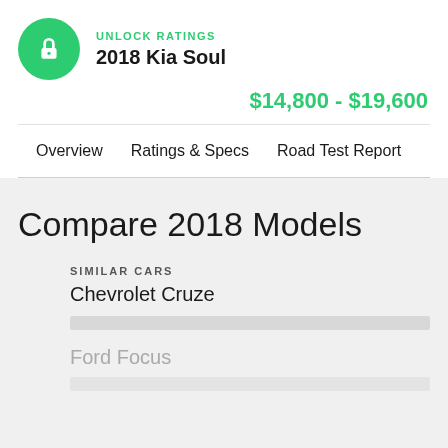UNLOCK RATINGS
2018 Kia Soul
$14,800 - $19,600
Overview   Ratings & Specs   Road Test Report
Compare 2018 Models
SIMILAR CARS
Chevrolet Cruze
Ford Focus